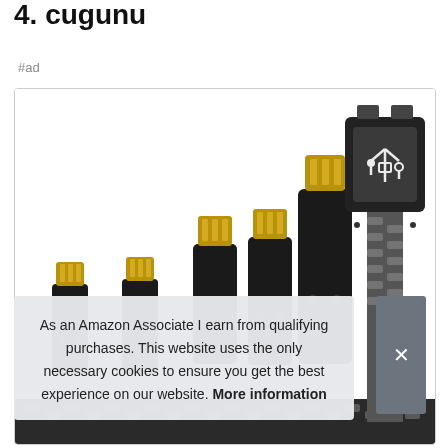4. cugunu
#ad
[Figure (photo): Multiple black Lightning USB cable connectors of various sizes arranged in ascending order, with a large USB-A connector on the right side with a braided cable. Product photo on white background inside a bordered box.]
As an Amazon Associate I earn from qualifying purchases. This website uses the only necessary cookies to ensure you get the best experience on our website. More information